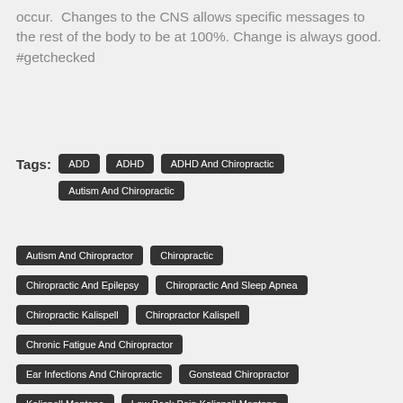occur.  Changes to the CNS allows specific messages to the rest of the body to be at 100%.  Change is always good.  #getchecked
Tags:
ADD
ADHD
ADHD And Chiropractic
Autism And Chiropractic
Autism And Chiropractor
Chiropractic
Chiropractic And Epilepsy
Chiropractic And Sleep Apnea
Chiropractic Kalispell
Chiropractor Kalispell
Chronic Fatigue And Chiropractor
Ear Infections And Chiropractic
Gonstead Chiropractor
Kalispell Montana
Low Back Pain Kalispell Montana